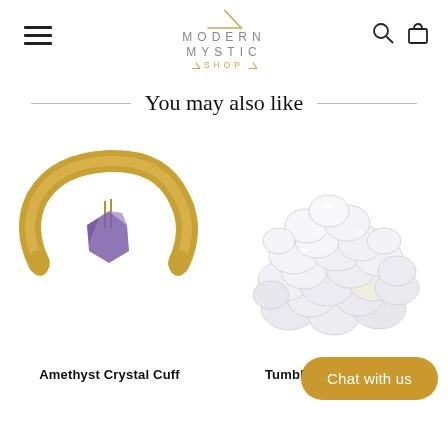Modern Mystic Shop
You may also like
[Figure (photo): Amethyst Crystal Cuff bracelet - a gold-toned metal cuff bracelet with a raw amethyst crystal wired to the center]
Amethyst Crystal Cuff
[Figure (photo): Tumbled Clear Quartz - a pile of small, polished, semi-transparent clear quartz stones]
Tumbled Clear Quartz